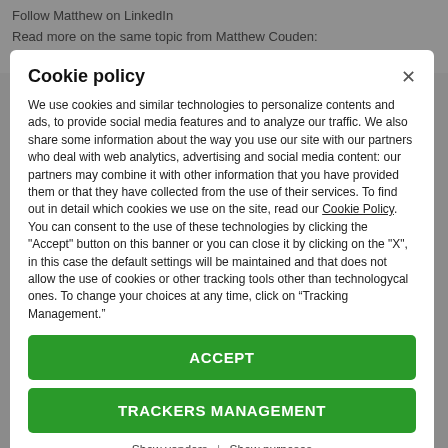Follow Matthew on LinkedIn
Read more on the same topic from Matthew Couden:
WWE announcer Howard Finkel passes at age 69, tributes arrive
Cookie policy
We use cookies and similar technologies to personalize contents and ads, to provide social media features and to analyze our traffic. We also share some information about the way you use our site with our partners who deal with web analytics, advertising and social media content: our partners may combine it with other information that you have provided them or that they have collected from the use of their services. To find out in detail which cookies we use on the site, read our Cookie Policy. You can consent to the use of these technologies by clicking the "Accept" button on this banner or you can close it by clicking on the "X", in this case the default settings will be maintained and that does not allow the use of cookies or other tracking tools other than technologycal ones. To change your choices at any time, click on “Tracking Management.”
ACCEPT
TRACKERS MANAGEMENT
Show vendors | Show purposes